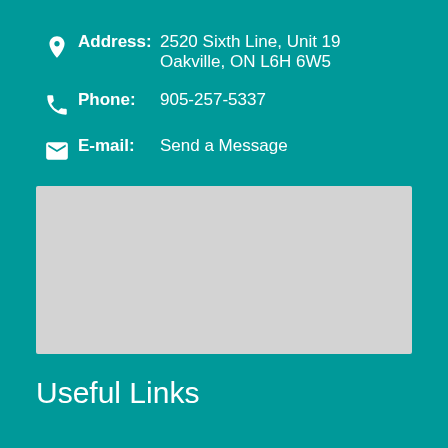Address: 2520 Sixth Line, Unit 19 Oakville, ON L6H 6W5
Phone: 905-257-5337
E-mail: Send a Message
[Figure (map): Embedded map placeholder showing a grey rectangle representing a map area]
Useful Links